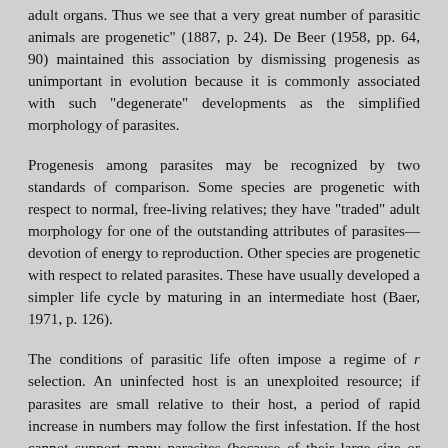adult organs. Thus we see that a very great number of parasitic animals are progenetic" (1887, p. 24). De Beer (1958, pp. 64, 90) maintained this association by dismissing progenesis as unimportant in evolution because it is commonly associated with such "degenerate" developments as the simplified morphology of parasites.
Progenesis among parasites may be recognized by two standards of comparison. Some species are progenetic with respect to normal, free-living relatives; they have "traded" adult morphology for one of the outstanding attributes of parasites—devotion of energy to reproduction. Other species are progenetic with respect to related parasites. These have usually developed a simpler life cycle by maturing in an intermediate host (Baer, 1971, p. 126).
The conditions of parasitic life often impose a regime of r selection. An uninfected host is an unexploited resource; if parasites are small relative to their host, a period of rapid increase in numbers may follow the first infestation. If the host cannot support many parasites (because of their large size or debilitating effect), high r might still be favored in order to produce progeny rapidly for dispersal to other hosts. Any host is an evanescent resource (for it will die a natural